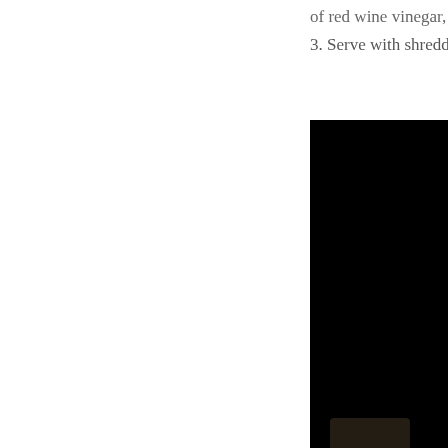of red wine vinegar, and salt. Adjust an
3. Serve with shredded pecorino roman
[Figure (photo): A dark, mostly black photograph of food, partially cropped, showing a dark background with a slight highlight at the bottom suggesting a dish or plate.]